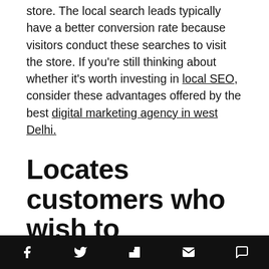store. The local search leads typically have a better conversion rate because visitors conduct these searches to visit the store. If you're still thinking about whether it's worth investing in local SEO, consider these advantages offered by the best digital marketing agency in west Delhi.
Locates customers who wish to purchase it
Did you know that the majority of mobile users who search for local businesses make a purchase? This is because local SEO helps to place your business in front of users at the same time they are searching for a service
Social share icons: Facebook, Twitter, Flipboard, Email, Comment